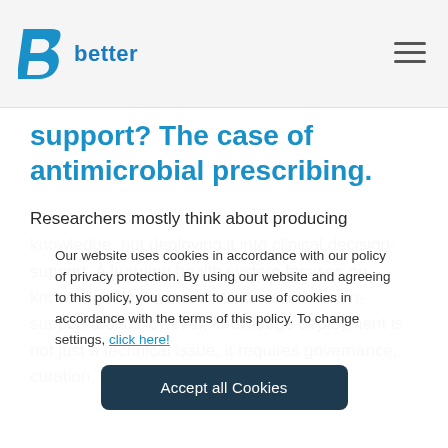better
support? The case of antimicrobial prescribing.
Researchers mostly think about producing knowledge, not deploying it into clinical decision-support. A learning health system focuses on knowledge deployment into clinical decision-support tools. However, knowledge deployment is not just a technical issue; it requires governance, curation, policy, and a
Our website uses cookies in accordance with our policy of privacy protection. By using our website and agreeing to this policy, you consent to our use of cookies in accordance with the terms of this policy. To change settings, click here!
Accept all Cookies